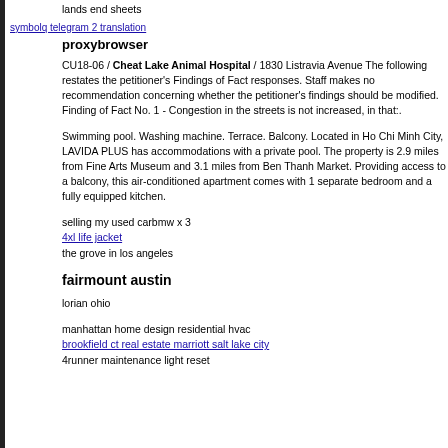lands end sheets
symbolq telegram 2 translation
proxybrowser
CU18-06 / Cheat Lake Animal Hospital / 1830 Listravia Avenue The following restates the petitioner's Findings of Fact responses. Staff makes no recommendation concerning whether the petitioner's findings should be modified. Finding of Fact No. 1 - Congestion in the streets is not increased, in that:.
Swimming pool. Washing machine. Terrace. Balcony. Located in Ho Chi Minh City, LAVIDA PLUS has accommodations with a private pool. The property is 2.9 miles from Fine Arts Museum and 3.1 miles from Ben Thanh Market. Providing access to a balcony, this air-conditioned apartment comes with 1 separate bedroom and a fully equipped kitchen.
selling my used carbmw x 3
4xl life jacket
the grove in los angeles
fairmount austin
lorian ohio
manhattan home design residential hvac
brookfield ct real estate marriott salt lake city
4runner maintenance light reset